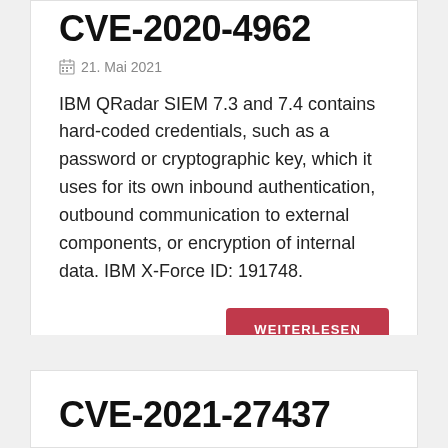CVE-2020-4962
21. Mai 2021
IBM QRadar SIEM 7.3 and 7.4 contains hard-coded credentials, such as a password or cryptographic key, which it uses for its own inbound authentication, outbound communication to external components, or encryption of internal data. IBM X-Force ID: 191748.
WEITERLESEN
CVE-2021-27437
21. Mai 2021